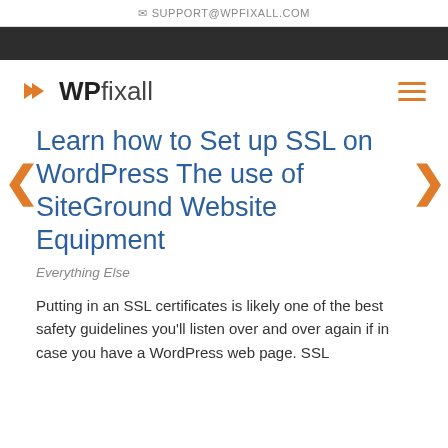✉ SUPPORT@WPFIXALL.COM
[Figure (logo): WPfixall logo with orange double-chevron arrows and text 'WPfixall']
Learn how to Set up SSL on WordPress The use of SiteGround Website Equipment
Everything Else
Putting in an SSL certificates is likely one of the best safety guidelines you'll listen over and over again if in case you have a WordPress web page. SSL certificates it from...